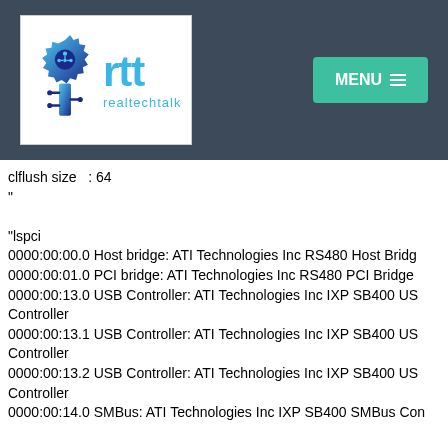[Figure (logo): realtechtalk logo with gear icon and teal RTT text on white background, with dark header bar and teal MENU button]
clflush size   : 64
"

"lspci
0000:00:00.0 Host bridge: ATI Technologies Inc RS480 Host Bridge
0000:00:01.0 PCI bridge: ATI Technologies Inc RS480 PCI Bridge
0000:00:13.0 USB Controller: ATI Technologies Inc IXP SB400 USB Controller
0000:00:13.1 USB Controller: ATI Technologies Inc IXP SB400 USB Controller
0000:00:13.2 USB Controller: ATI Technologies Inc IXP SB400 USB Controller
0000:00:14.0 SMBus: ATI Technologies Inc IXP SB400 SMBus Con